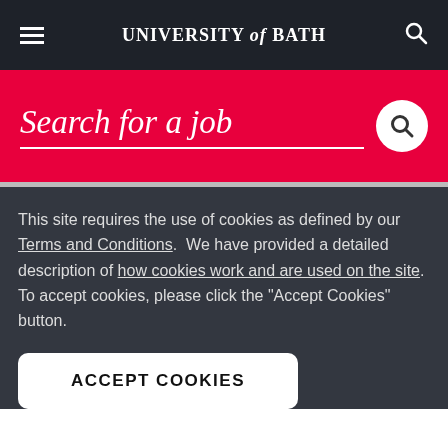UNIVERSITY of BATH
Search for a job
This site requires the use of cookies as defined by our Terms and Conditions.  We have provided a detailed description of how cookies work and are used on the site.  To accept cookies, please click the "Accept Cookies" button.
ACCEPT COOKIES